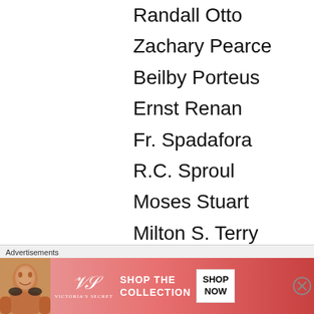Randall Otto
Zachary Pearce
Beilby Porteus
Ernst Renan
Fr. Spadafora
R.C. Sproul
Moses Stuart
Milton S. Terry
C. Vanderwaal
Foy Wallace
Israel P. Warren
Chas Wellbeloved
J.J. Wetstein
Richard Weymouth
[Figure (other): Victoria's Secret advertisement banner with woman and 'Shop the Collection / Shop Now' button]